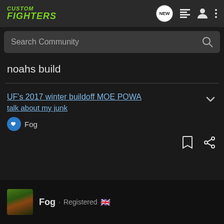CUSTOM FIGHTERS
Search Community
noahs build
UF's 2017 winter buildoff MOE POWA
talk about my junk
Fog
Fog · Registered 🇬🇧